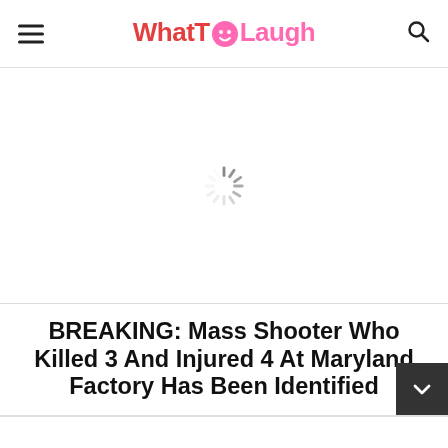WhatTOLaugh
[Figure (other): Loading spinner / throbber animation indicator in the center of a white ad placeholder area]
BREAKING: Mass Shooter Who Killed 3 And Injured 4 At Maryland Factory Has Been Identified